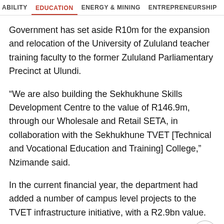ABILITY   EDUCATION   ENERGY & MINING   ENTREPRENEURSHIP   FINAN
Government has set aside R10m for the expansion and relocation of the University of Zululand teacher training faculty to the former Zululand Parliamentary Precinct at Ulundi.
“We are also building the Sekhukhune Skills Development Centre to the value of R146.9m, through our Wholesale and Retail SETA, in collaboration with the Sekhukhune TVET [Technical and Vocational Education and Training] College,” Nzimande said.
In the current financial year, the department had added a number of campus level projects to the TVET infrastructure initiative, with a R2.9bn value.
The ministry had a R130.1bn budget in the 2022/23